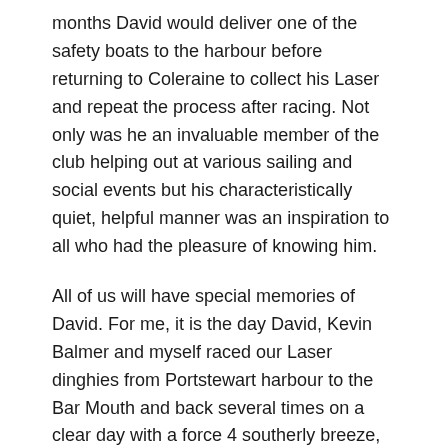months David would deliver one of the safety boats to the harbour before returning to Coleraine to collect his Laser and repeat the process after racing. Not only was he an invaluable member of the club helping out at various sailing and social events but his characteristically quiet, helpful manner was an inspiration to all who had the pleasure of knowing him.
All of us will have special memories of David. For me, it is the day David, Kevin Balmer and myself raced our Laser dinghies from Portstewart harbour to the Bar Mouth and back several times on a clear day with a force 4 southerly breeze, ideal for sailing. My memory, albeit with a touch of poetic licence, is of three Lasers racing across the bay like a flat stone skimming across water. David's interest in sailing went much further than dinghies. With CYC members we sailed together off the West Coast of Scotland in the sail training boat “Lord Rank”, now sadly lying at the bottom of Rathlin Sound. David’s spirit of adventure also extended to